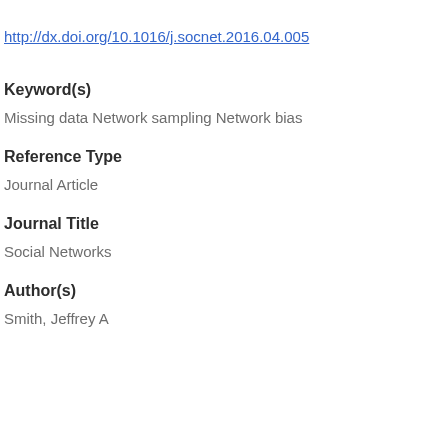http://dx.doi.org/10.1016/j.socnet.2016.04.005
Keyword(s)
Missing data Network sampling Network bias
Reference Type
Journal Article
Journal Title
Social Networks
Author(s)
Smith, Jeffrey A